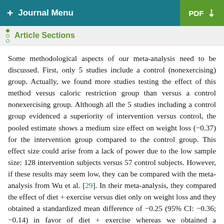+ Journal Menu   PDF ↓
Article Sections
Some methodological aspects of our meta-analysis need to be discussed. First, only 5 studies include a control (nonexercising) group. Actually, we found more studies testing the effect of this method versus caloric restriction group than versus a control nonexercising group. Although all the 5 studies including a control group evidenced a superiority of intervention versus control, the pooled estimate shows a medium size effect on weight loss (−0.37) for the intervention group compared to the control group. This effect size could arise from a lack of power due to the low sample size: 128 intervention subjects versus 57 control subjects. However, if these results may seem low, they can be compared with the meta-analysis from Wu et al. [29]. In their meta-analysis, they compared the effect of diet + exercise versus diet only on weight loss and they obtained a standardized mean difference of −0.25 (95% CI: −0.36; −0.14) in favor of diet + exercise whereas we obtained a standardized mean difference of −0.37 (95% CI: −0.69; −0.06) in favor of exercise